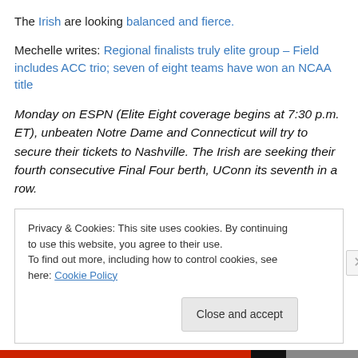The Irish are looking balanced and fierce.
Mechelle writes: Regional finalists truly elite group – Field includes ACC trio; seven of eight teams have won an NCAA title
Monday on ESPN (Elite Eight coverage begins at 7:30 p.m. ET), unbeaten Notre Dame and Connecticut will try to secure their tickets to Nashville. The Irish are seeking their fourth consecutive Final Four berth, UConn its seventh in a row.
Privacy & Cookies: This site uses cookies. By continuing to use this website, you agree to their use.
To find out more, including how to control cookies, see here: Cookie Policy